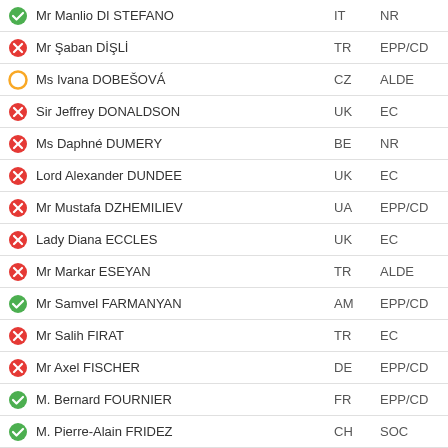Mr Manlio DI STEFANO | IT | NR | green-check
Mr Şaban DİŞLİ | TR | EPP/CD | red-x
Ms Ivana DOBEŠOVÁ | CZ | ALDE | yellow-circle
Sir Jeffrey DONALDSON | UK | EC | red-x
Ms Daphné DUMERY | BE | NR | red-x
Lord Alexander DUNDEE | UK | EC | red-x
Mr Mustafa DZHEMILIEV | UA | EPP/CD | red-x
Lady Diana ECCLES | UK | EC | red-x
Mr Markar ESEYAN | TR | ALDE | red-x
Mr Samvel FARMANYAN | AM | EPP/CD | green-check
Mr Salih FIRAT | TR | EC | red-x
Mr Axel FISCHER | DE | EPP/CD | red-x
M. Bernard FOURNIER | FR | EPP/CD | green-check
M. Pierre-Alain FRIDEZ | CH | SOC | green-check
Ms Sahiba GAFAROVA | AZ | EC | red-x
Sir Roger GALE | UK | EC | red-x
Ms Adele GAMBARO | IT | ALDE | green-check